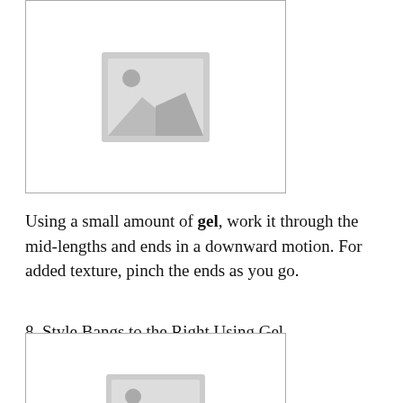[Figure (photo): Placeholder image icon showing a landscape/photo symbol inside a bordered rectangle]
Using a small amount of gel, work it through the mid-lengths and ends in a downward motion. For added texture, pinch the ends as you go.
8. Style Bangs to the Right Using Gel
[Figure (photo): Placeholder image icon showing a landscape/photo symbol inside a bordered rectangle]
Apply gel to your fingertips then gently rake